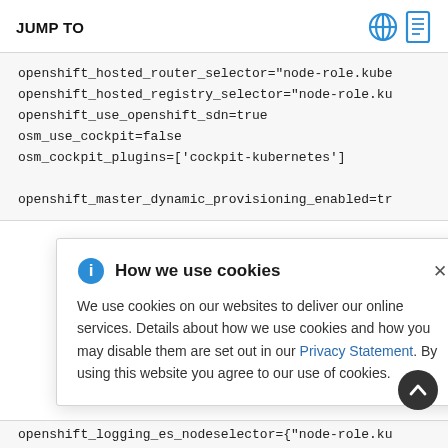JUMP TO
openshift_hosted_router_selector="node-role.kube
openshift_hosted_registry_selector="node-role.ku
openshift_use_openshift_sdn=true
osm_use_cockpit=false
osm_cockpit_plugins=['cockpit-kubernetes']

openshift_master_dynamic_provisioning_enabled=tr
How we use cookies

We use cookies on our websites to deliver our online services. Details about how we use cookies and how you may disable them are set out in our Privacy Statement. By using this website you agree to our use of cookies.
openshift_logging_es_nodeselector={"node-role.ku